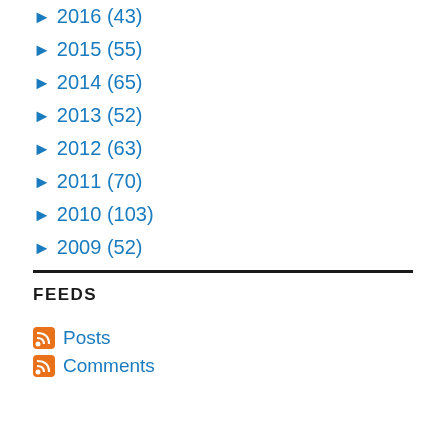► 2016 (43)
► 2015 (55)
► 2014 (65)
► 2013 (52)
► 2012 (63)
► 2011 (70)
► 2010 (103)
► 2009 (52)
FEEDS
Posts
Comments